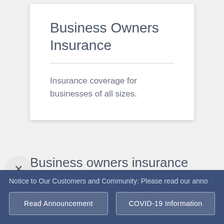Business Owners Insurance
Insurance coverage for businesses of all sizes.
Business owners insurance
Notice to Our Customers and Community: Please read our anno
Read Announcement
COVID-19 Information